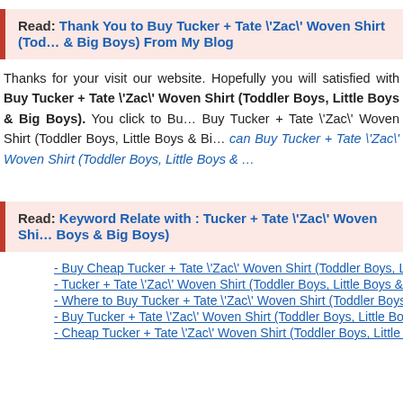Read: Thank You to Buy Tucker + Tate \'Zac\' Woven Shirt (Toddler Boys, Little Boys & Big Boys) From My Blog
Thanks for your visit our website. Hopefully you will satisfied with Buy Tucker + Tate \'Zac\' Woven Shirt (Toddler Boys, Little Boys & Big Boys). You click to Buy Tucker + Tate \'Zac\' Woven Shirt (Toddler Boys, Little Boys & Big Boys). you can Buy Tucker + Tate \'Zac\' Woven Shirt (Toddler Boys, Little Boys & …
Read: Keyword Relate with : Tucker + Tate \'Zac\' Woven Shirt (Toddler Boys, Little Boys & Big Boys)
- Buy Cheap Tucker + Tate \'Zac\' Woven Shirt (Toddler Boys, Lit…
- Tucker + Tate \'Zac\' Woven Shirt (Toddler Boys, Little Boys & B…
- Where to Buy Tucker + Tate \'Zac\' Woven Shirt (Toddler Boys,…
- Buy Tucker + Tate \'Zac\' Woven Shirt (Toddler Boys, Little Boys…
- Cheap Tucker + Tate \'Zac\' Woven Shirt (Toddler Boys, Little B…